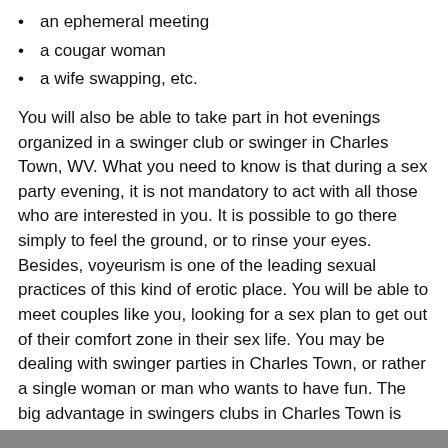an ephemeral meeting
a cougar woman
a wife swapping, etc.
You will also be able to take part in hot evenings organized in a swinger club or swinger in Charles Town, WV. What you need to know is that during a sex party evening, it is not mandatory to act with all those who are interested in you. It is possible to go there simply to feel the ground, or to rinse your eyes. Besides, voyeurism is one of the leading sexual practices of this kind of erotic place. You will be able to meet couples like you, looking for a sex plan to get out of their comfort zone in their sex life. You may be dealing with swinger parties in Charles Town, or rather a single woman or man who wants to have fun. The big advantage in swingers clubs in Charles Town is that a special emphasis is put on member discretion, to avoid possible scandals, especially for members who are actually public figures. You will therefore have the guarantee that in all circumstances, the organizers will take care to preserve your identity.